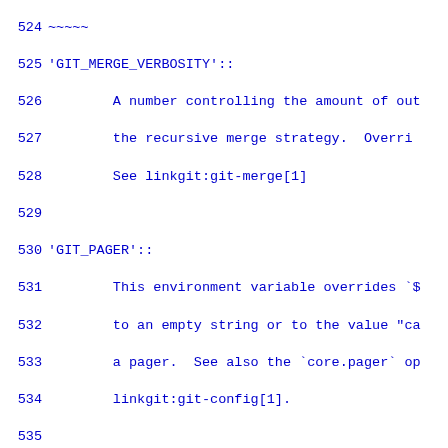Code listing lines 524-553 showing Git environment variable documentation including GIT_MERGE_VERBOSITY, GIT_PAGER, GIT_SSH, and GIT_FLUSH entries